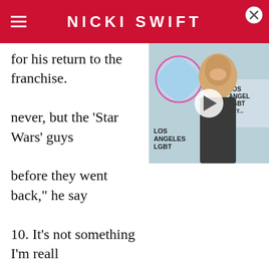NICKI SWIFT
for his return to the franchise. never, but the 'Star Wars' guys before they went back," he say 10. It's not something I'm reall now."
[Figure (screenshot): Video player overlay showing a man at a Los Angeles LGBT event, with a play button in the center and a close button in the top right corner.]